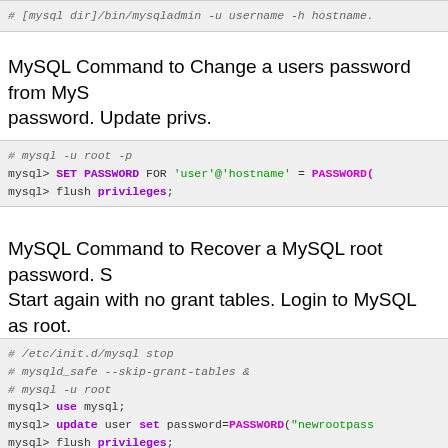# [mysql dir]/bin/mysqladmin -u username -h hostname.
MySQL Command to Change a users password from MySQL. Update privs.
# mysql -u root -p
mysql> SET PASSWORD FOR 'user'@'hostname' = PASSWORD(
mysql> flush privileges;
MySQL Command to Recover a MySQL root password. Start again with no grant tables. Login to MySQL as root. and restart MySQL server.
# /etc/init.d/mysql stop
# mysqld_safe --skip-grant-tables &
# mysql -u root
mysql> use mysql;
mysql> update user set password=PASSWORD("newrootpass
mysql> flush privileges;
mysql> quit<br />
# /etc/init.d/mysql stop
# /etc/init.d/mysql start